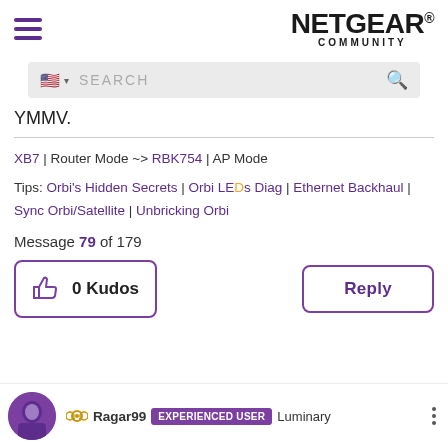NETGEAR® COMMUNITY
YMMV.
XB7 | Router Mode ~> RBK754 | AP Mode
Tips: Orbi's Hidden Secrets | Orbi LEDs Diag | Ethernet Backhaul | Sync Orbi/Satellite | Unbricking Orbi
Message 79 of 179
0 Kudos
Reply
Ragar99 EXPERIENCED USER Luminary